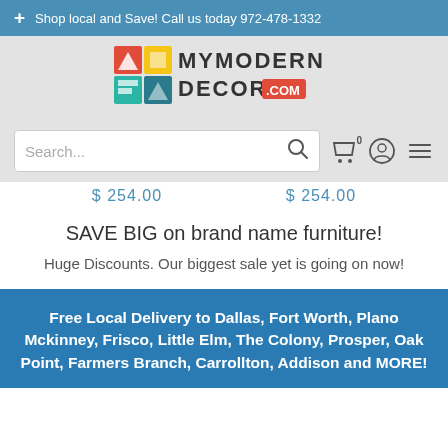+ Shop local and Save! Call us today 972-478-1332
[Figure (logo): MyModern Decor .com logo with colorful grid icon]
[Figure (screenshot): Search bar with magnifying glass icon, cart icon (0), account icon, and hamburger menu icon]
$ 254.00  $ 254.00
SAVE BIG on brand name furniture!
Huge Discounts. Our biggest sale yet is going on now!
Free Local Delivery to Dallas, Fort Worth, Plano Mckinney, Frisco, Little Elm, The Colony, Prosper, Oak Point, Farmers Branch, Carrollton, Addison and MORE!